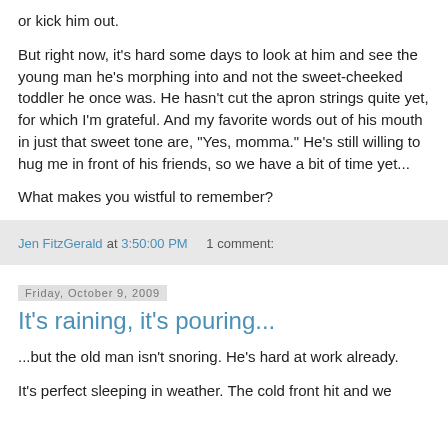or kick him out.
But right now, it's hard some days to look at him and see the young man he's morphing into and not the sweet-cheeked toddler he once was. He hasn't cut the apron strings quite yet, for which I'm grateful. And my favorite words out of his mouth in just that sweet tone are, "Yes, momma." He's still willing to hug me in front of his friends, so we have a bit of time yet...
What makes you wistful to remember?
Jen FitzGerald at 3:50:00 PM    1 comment:
Friday, October 9, 2009
It's raining, it's pouring...
...but the old man isn't snoring. He's hard at work already.
It's perfect sleeping in weather. The cold front hit and we